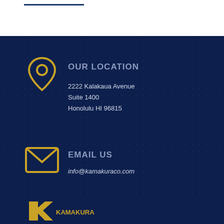[Figure (illustration): Decorative blue horizontal line at top of page]
OUR LOCATION
2222 Kalakaua Avenue
Suite 1400
Honolulu HI 96815
EMAIL US
info@kamakuraco.com
CALL US
+1 808.791.9888
[Figure (logo): Kamakura company logo at bottom]